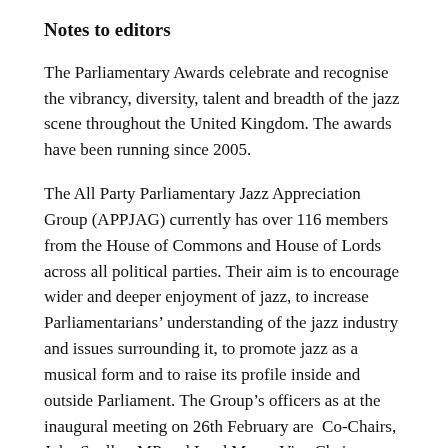Notes to editors
The Parliamentary Awards celebrate and recognise the vibrancy, diversity, talent and breadth of the jazz scene throughout the United Kingdom. The awards have been running since 2005.
The All Party Parliamentary Jazz Appreciation Group (APPJAG) currently has over 116 members from the House of Commons and House of Lords across all political parties. Their aim is to encourage wider and deeper enjoyment of jazz, to increase Parliamentarians’ understanding of the jazz industry and issues surrounding it, to promote jazz as a musical form and to raise its profile inside and outside Parliament. The Group’s officers as at the inaugural meeting on 26th February are  Co-Chairs, John Spellar  MP and Lord Mann, Vice Chairs, Alison Thewless MP and Chi Onwurah MP. Secretary, Sir